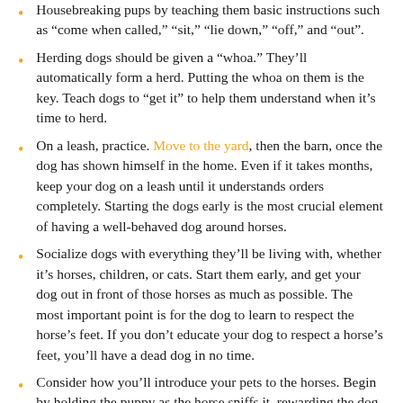Housebreaking pups by teaching them basic instructions such as "come when called," "sit," "lie down," "off," and "out".
Herding dogs should be given a "whoa." They'll automatically form a herd. Putting the whoa on them is the key. Teach dogs to "get it" to help them understand when it's time to herd.
On a leash, practice. Move to the yard, then the barn, once the dog has shown himself in the home. Even if it takes months, keep your dog on a leash until it understands orders completely. Starting the dogs early is the most crucial element of having a well-behaved dog around horses.
Socialize dogs with everything they'll be living with, whether it's horses, children, or cats. Start them early, and get your dog out in front of those horses as much as possible. The most important point is for the dog to learn to respect the horse's feet. If you don't educate your dog to respect a horse's feet, you'll have a dead dog in no time.
Consider how you'll introduce your pets to the horses. Begin by holding the puppy as the horse sniffs it, rewarding the dog for its friendliness while ignoring the puppy's fear. Place the puppy down once it is at ease, and let it become accustomed to the